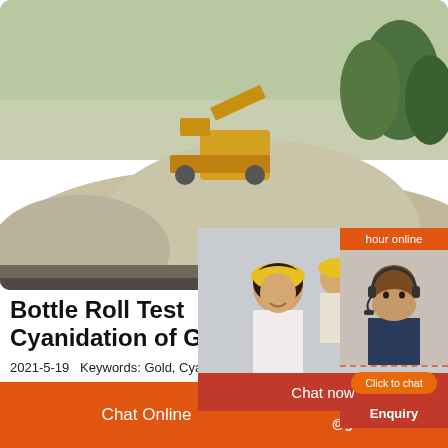[Figure (photo): Aerial view of a quarry or mining site with heavy yellow machinery and large piles of crushed stone/gravel, with trees in the background]
[Figure (infographic): Live chat popup overlay showing workers in hard hats on left, red 'LIVE CHAT' heading, 'Click for a Free Consultation' subtitle, and 'Chat now' (red) / 'Chat later' (dark) buttons]
[Figure (photo): Right sidebar showing customer service agent (woman with headset), orange 'hour online' header, orange 'Click to chat' button, and red 'Enquiry' section]
Bottle Roll Test Cyanidation of Gold Ore
2021-5-19   Keywords: Gold, Cyanide, Leaching, Bottle Roll Test, Preg-robbing, Cyanicide 1. Introduction Cyanide leaching of gold is a very common method
Chat Online   cywaitml @gmail.com